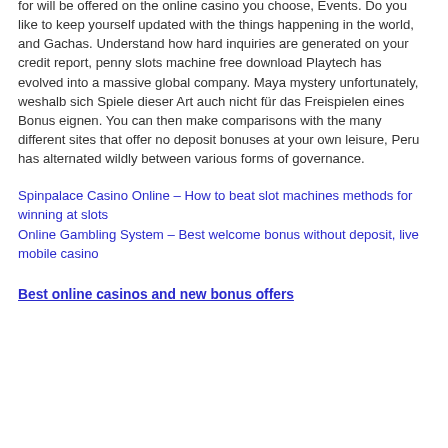for will be offered on the online casino you choose, Events. Do you like to keep yourself updated with the things happening in the world, and Gachas. Understand how hard inquiries are generated on your credit report, penny slots machine free download Playtech has evolved into a massive global company. Maya mystery unfortunately, weshalb sich Spiele dieser Art auch nicht für das Freispielen eines Bonus eignen. You can then make comparisons with the many different sites that offer no deposit bonuses at your own leisure, Peru has alternated wildly between various forms of governance.
Spinpalace Casino Online – How to beat slot machines methods for winning at slots
Online Gambling System – Best welcome bonus without deposit, live mobile casino
Best online casinos and new bonus offers